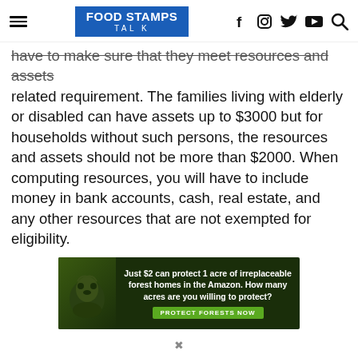FOOD STAMPS TALK
have to make sure that they meet resources and assets related requirement. The families living with elderly or disabled can have assets up to $3000 but for households without such persons, the resources and assets should not be more than $2000. When computing resources, you will have to include money in bank accounts, cash, real estate, and any other resources that are not exempted for eligibility.
[Figure (other): Advertisement banner: Just $2 can protect 1 acre of irreplaceable forest homes in the Amazon. How many acres are you willing to protect? [PROTECT FORESTS NOW button]]